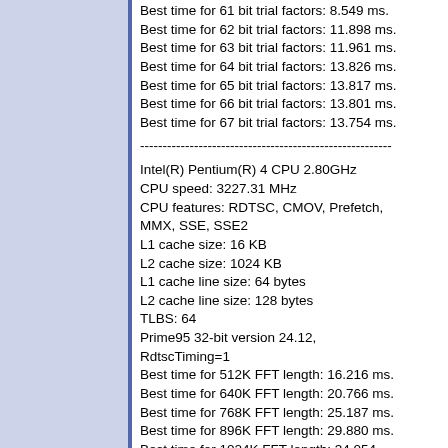Best time for 61 bit trial factors: 8.549 ms.
Best time for 62 bit trial factors: 11.898 ms.
Best time for 63 bit trial factors: 11.961 ms.
Best time for 64 bit trial factors: 13.826 ms.
Best time for 65 bit trial factors: 13.817 ms.
Best time for 66 bit trial factors: 13.801 ms.
Best time for 67 bit trial factors: 13.754 ms.
--------------------------------------------------------
Intel(R) Pentium(R) 4 CPU 2.80GHz
CPU speed: 3227.31 MHz
CPU features: RDTSC, CMOV, Prefetch, MMX, SSE, SSE2
L1 cache size: 16 KB
L2 cache size: 1024 KB
L1 cache line size: 64 bytes
L2 cache line size: 128 bytes
TLBS: 64
Prime95 32-bit version 24.12, RdtscTiming=1
Best time for 512K FFT length: 16.216 ms.
Best time for 640K FFT length: 20.766 ms.
Best time for 768K FFT length: 25.187 ms.
Best time for 896K FFT length: 29.880 ms.
Best time for 1024K FFT length: 34.054 ms.
Best time for 1280K FFT length: 42.345 ms.
Best time for 1536K FFT length: 51.512